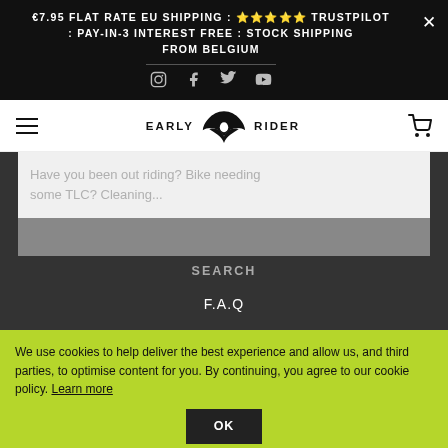€7.95 FLAT RATE EU SHIPPING : ★★★★★ Trustpilot : PAY-IN-3 INTEREST FREE : STOCK SHIPPING FROM BELGIUM
[Figure (logo): Social media icons: Instagram, Facebook, Twitter, YouTube]
[Figure (logo): Early Rider logo with stylized wing/bird mark between EARLY and RIDER text]
Have you been out riding? Bike needing some TLC? Cleaning...
SEARCH
F.A.Q
We use cookies to help deliver the best experience and allow us, and third parties, to optimise content for you. By continuing, you agree to our cookie policy. Learn more